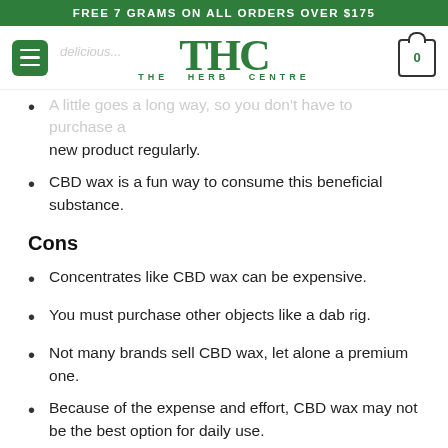FREE 7 GRAMS ON ALL ORDERS OVER $175
[Figure (logo): THC The Herb Centre logo with green letters and navigation bar including hamburger menu and cart icon]
A little goes a long way, so you don't have to purchase a new product regularly.
CBD wax is a fun way to consume this beneficial substance.
Cons
Concentrates like CBD wax can be expensive.
You must purchase other objects like a dab rig.
Not many brands sell CBD wax, let alone a premium one.
Because of the expense and effort, CBD wax may not be the best option for daily use.
The Dangers Of Buying Cheap CBD Wax